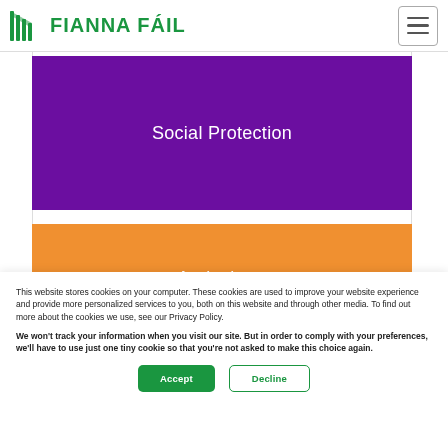FIANNA FÁIL
[Figure (other): Purple banner button labeled 'Social Protection']
[Figure (other): Orange banner button labeled 'Agriculture']
This website stores cookies on your computer. These cookies are used to improve your website experience and provide more personalized services to you, both on this website and through other media. To find out more about the cookies we use, see our Privacy Policy.
We won't track your information when you visit our site. But in order to comply with your preferences, we'll have to use just one tiny cookie so that you're not asked to make this choice again.
Accept  Decline